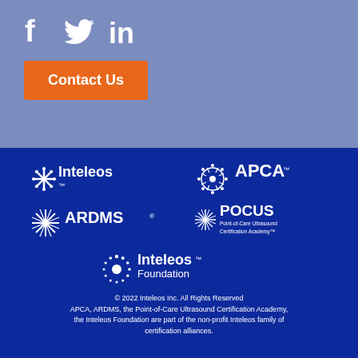[Figure (logo): Social media icons: Facebook, Twitter, LinkedIn in white on blue-grey background]
Contact Us
[Figure (logo): Inteleos logo in white on dark blue background]
[Figure (logo): APCA logo in white on dark blue background]
[Figure (logo): ARDMS logo in white on dark blue background]
[Figure (logo): POCUS Point-of-Care Ultrasound Certification Academy logo in white on dark blue background]
[Figure (logo): Inteleos Foundation logo in white on dark blue background]
© 2022 Inteleos Inc. All Rights Reserved APCA, ARDMS, the Point-of-Care Ultrasound Certification Academy, the Inteleos Foundation are part of the non-profit Inteleos family of certification alliances.